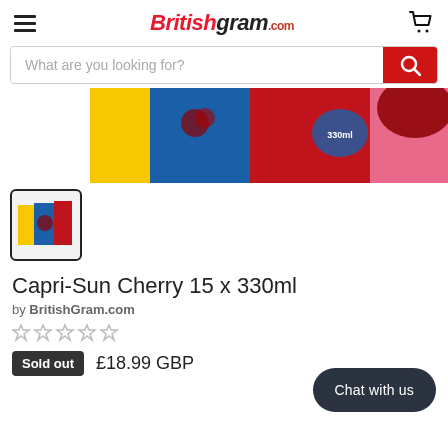Britishgram.com
[Figure (screenshot): Search bar with placeholder text 'What are you looking for?' and red search button]
[Figure (photo): Partial product image of Capri-Sun Cherry multi-pack, colorful box cropped at top]
[Figure (photo): Small thumbnail image of Capri-Sun Cherry 15 x 330ml product in bordered box]
Capri-Sun Cherry 15 x 330ml
by BritishGram.com
☆☆☆☆☆
Sold out  £18.99 GBP
Chat with us